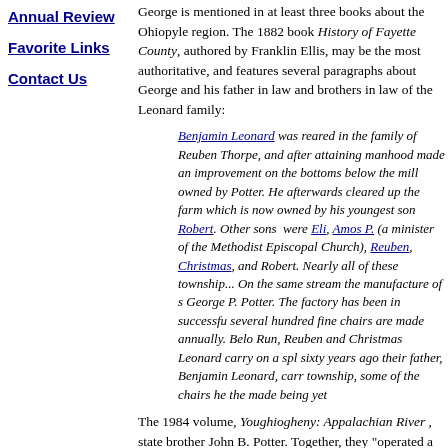Annual Review
Favorite Links
Contact Us
George is mentioned in at least three books about the Ohiopyle region. The 1882 book History of Fayette County, authored by Franklin Ellis, may be the most authoritative, and features several paragraphs about George and his father in law and brothers in law of the Leonard family:
Benjamin Leonard was reared in the family of Reuben Thorpe, and after attaining manhood made an improvement on the bottoms below the mill owned by Potter. He afterwards cleared up the farm which is now owned by his youngest son Robert. Other sons were Eli, Amos P. (a minister of the Methodist Episcopal Church), Reuben, Christmas, and Robert. Nearly all of these township... On the same stream the manufacture of s George P. Potter. The factory has been in successful several hundred fine chairs are made annually. Belo Run, Reuben and Christmas Leonard carry on a spl sixty years ago their father, Benjamin Leonard, carr township, some of the chairs he the made being yet
The 1984 volume, Youghiogheny: Appalachian River, state brother John B. Potter. Together, they "operated a splint cha several hundred chairs a year," wrote the author. (The book University of Pittsburgh Press and authored by John B.'s gr Palmer.)